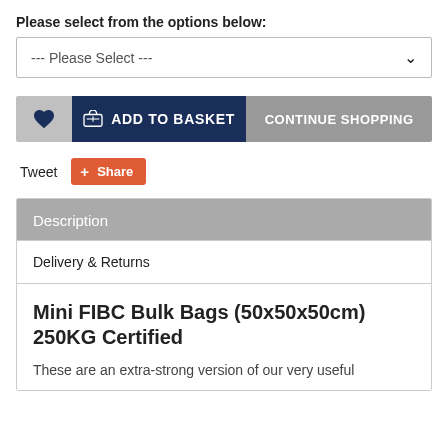Please select from the options below:
[Figure (screenshot): Dropdown selector with placeholder text '--- Please Select ---' and chevron icon]
[Figure (screenshot): Three buttons in a row: grey heart/wishlist button, dark navy 'ADD TO BASKET' button with basket icon, grey 'CONTINUE SHOPPING' button]
Tweet
[Figure (screenshot): Orange share button with plus icon and 'Share' label]
Description
Delivery & Returns
Mini FIBC Bulk Bags (50x50x50cm) 250KG Certified
These are an extra-strong version of our very useful